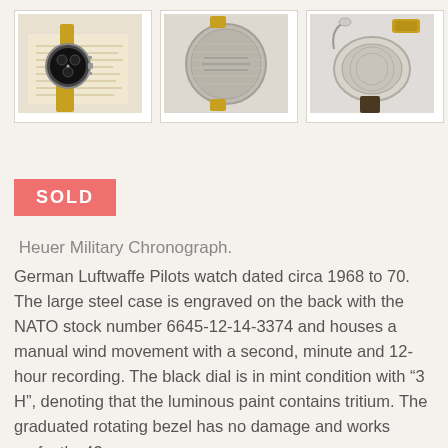[Figure (photo): Three product photos of a Heuer Military Chronograph watch: left shows the watch face-up on a document with gold strap; center shows the watch case back (brushed steel); right shows the watch case back open/angled with gold strap clasp.]
SOLD
Heuer Military Chronograph.
German Luftwaffe Pilots watch dated circa 1968 to 70. The large steel case is engraved on the back with the NATO stock number 6645-12-14-3374 and houses a manual wind movement with a second, minute and 12-hour recording. The black dial is in mint condition with “3 H”, denoting that the luminous paint contains tritium. The graduated rotating bezel has no damage and works perfectly. 43 mm.